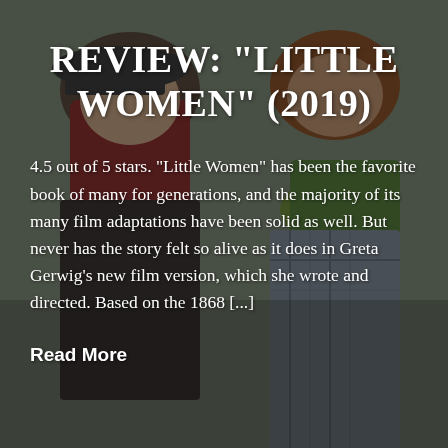[Figure (photo): Two women outdoors, one wearing a dark cap and red top, one with brown hair wearing a green scarf and plaid jacket, photo overlaid with dark semi-transparent layer]
REVIEW: “LITTLE WOMEN” (2019)
4.5 out of 5 stars. “Little Women” has been the favorite book of many for generations, and the majority of its many film adaptations have been solid as well.  But never has the story felt so alive as it does in Greta Gerwig’s new film version, which she wrote and directed.  Based on the 1868 [...]
Read More